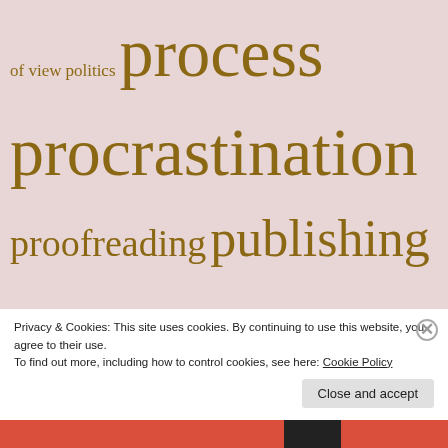[Figure (infographic): Tag cloud with writing-related terms in varying sizes, displayed in golden-brown color on a dusty rose/mauve background. Terms include: of view, politics, process, procrastination, proofreading, publishing, punctuation, reading, research, reviewing, revision, risk, rules, semicolon, sentences, spelling, story, structure, Sturgis's laws, style, style sheets, theater, The Mud of the Place, Ursula K. Le Guin, villains, walking, Wolfie, words, writer's block, writers' groups]
Privacy & Cookies: This site uses cookies. By continuing to use this website, you agree to their use. To find out more, including how to control cookies, see here: Cookie Policy